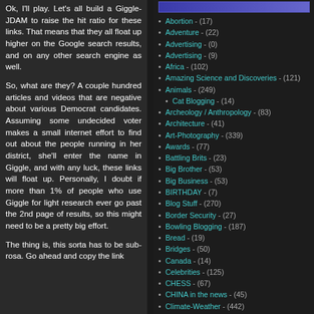Ok, I'll play. Let's all build a Giggle-JDAM to raise the hit ratio for these links. That means that they all float up higher on the Google search results, and on any other search engine as well.
So, what are they? A couple hundred articles and videos that are negative about various Democrat candidates. Assuming some undecided voter makes a small internet effort to find out about the people running in her district, she'll enter the name in Giggle, and with any luck, these links will float up. Personally, I doubt if more than 1% of people who use Giggle for light research ever go past the 2nd page of results, so this might need to be a pretty big effort.
The thing is, this sorta has to be sub-rosa. Go ahead and copy the link
Abortion - (17)
Adventure - (22)
Advertising - (0)
Advertising - (9)
Africa - (102)
Amazing Science and Discoveries - (121)
Animals - (249)
Cat Blogging - (14)
Archeology / Anthropology - (83)
Architecture - (41)
Art-Photography - (339)
Awards - (77)
Battling Brits - (23)
Big Brother - (53)
Big Business - (53)
BIRTHDAY - (7)
Blog Stuff - (270)
Border Security - (27)
Bowling Blogging - (187)
Bread - (19)
Bridges - (50)
Canada - (14)
Celebrities - (125)
CHESS - (67)
CHINA in the news - (45)
Climate-Weather - (442)
Colleges-Professors - (70)
Commies - (212)
Computers and Cyberspace - (80)
Crime - (1093)
CULTURE IN DECLINE - (416)
Daily Life - (730)
Democrats-Liberals-Moonbat Leftists - (1830)
Passing on, Death and Disaster - (18)
Disasters - (7)
Economics - (362)
DIVERSITY BS - (110)